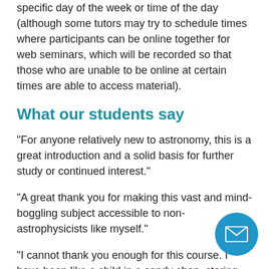specific day of the week or time of the day (although some tutors may try to schedule times where participants can be online together for web seminars, which will be recorded so that those who are unable to be online at certain times are able to access material).
What our students say
"For anyone relatively new to astronomy, this is a great introduction and a solid basis for further study or continued interest."
"A great thank you for making this vast and mind-boggling subject accessible to non-astrophysicists like myself."
"I cannot thank you enough for this course. I have been like a child in a candy shop, staring amazed at the wonders you have revealed. You have put forward complex information with great clarity and made it exciting: I could not wait for the next piece of infor... I have to say I feel somewhat bereft that the course is